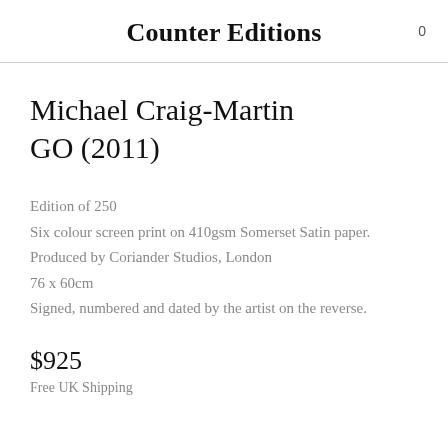Counter Editions
Michael Craig-Martin
GO (2011)
Edition of 250
Six colour screen print on 410gsm Somerset Satin paper. Produced by Coriander Studios, London
76 x 60cm
Signed, numbered and dated by the artist on the reverse.
$925
Free UK Shipping